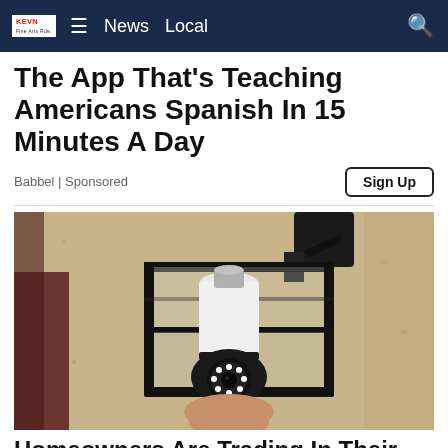KEVN  ≡  News  Local
The App That's Teaching Americans Spanish In 15 Minutes A Day
Babbel | Sponsored
[Figure (photo): A security camera shaped like a light bulb installed inside a black outdoor wall lantern fixture, mounted on a textured stucco wall]
Homeowners Are Trading In Their Doorbell